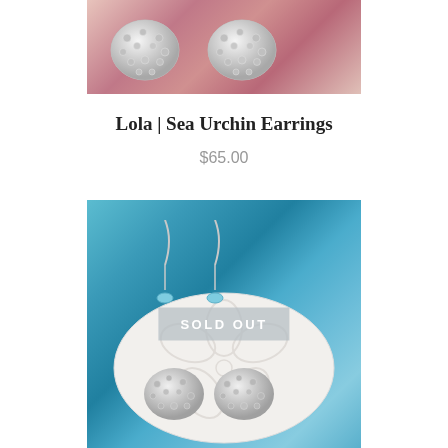[Figure (photo): Close-up photo of silver sea urchin textured stud earrings against a pink/red background]
Lola | Sea Urchin Earrings
$65.00
[Figure (photo): Product photo showing silver sea urchin earrings and larimar drop earrings displayed on a white sand dollar against a teal/blue textured background. A 'SOLD OUT' overlay banner is displayed across the center of the image.]